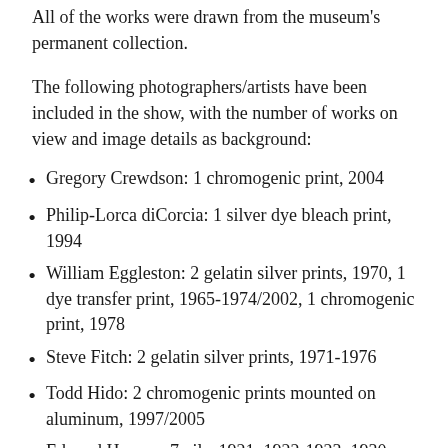All of the works were drawn from the museum's permanent collection.
The following photographers/artists have been included in the show, with the number of works on view and image details as background:
Gregory Crewdson: 1 chromogenic print, 2004
Philip-Lorca diCorcia: 1 silver dye bleach print, 1994
William Eggleston: 2 gelatin silver prints, 1970, 1 dye transfer print, 1965-1974/2002, 1 chromogenic print, 1978
Steve Fitch: 2 gelatin silver prints, 1971-1976
Todd Hido: 2 chromogenic prints mounted on aluminum, 1997/2005
Edward Hopper: 7 oils, 1921, 1922-1923, 1930, 1948, 1955, 1960, 1961